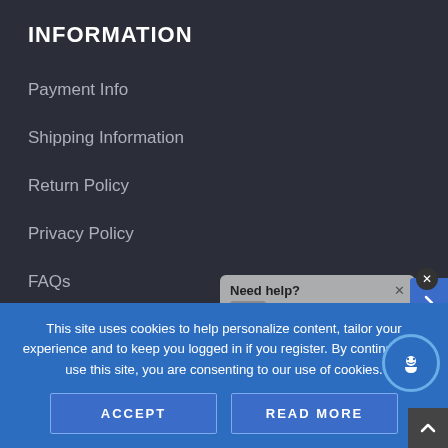INFORMATION
Payment Info
Shipping Information
Return Policy
Privacy Policy
FAQs
Procedure of Cleaning
Terms and Conditions
[Figure (screenshot): Chat popup with 'Need help?' header and 'Our staff are ready to help!' text with avatar image]
This site uses cookies to help personalize content, tailor your experience and to keep you logged in if you register. By continuing to use this site, you are consenting to our use of cookies.
ACCEPT
READ MORE